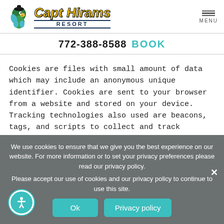[Figure (logo): Capt Hirams Resort logo with parrot mascot and stylized text]
772-388-8588  BOOK
Cookies are files with small amount of data which may include an anonymous unique identifier. Cookies are sent to your browser from a website and stored on your device. Tracking technologies also used are beacons, tags, and scripts to collect and track information and to improve and analyze our Service.
We use cookies to ensure that we give you the best experience on our website. For more information or to set your privacy preferences please read our privacy policy.
Please accept our use of cookies and our privacy policy to continue to use this site.